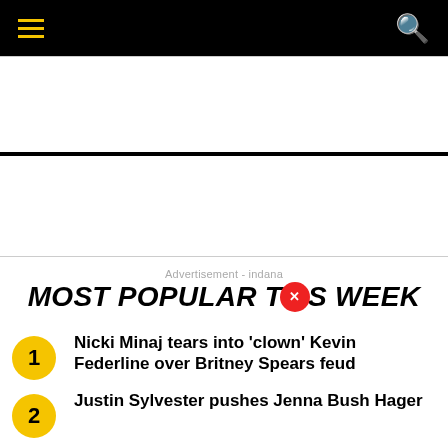Navigation bar with hamburger menu and search icon
Advertisement - indana
MOST POPULAR THIS WEEK
1. Nicki Minaj tears into 'clown' Kevin Federline over Britney Spears feud
2. Justin Sylvester pushes Jenna Bush Hager